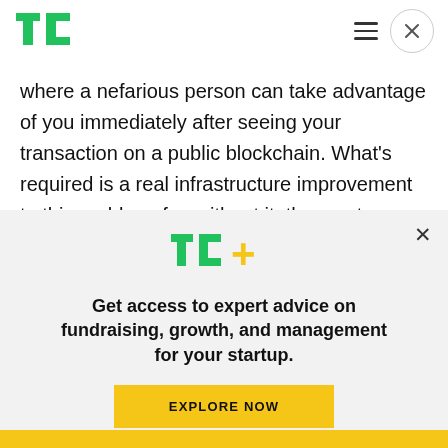TechCrunch logo, hamburger menu, close button
where a nefarious person can take advantage of you immediately after seeing your transaction on a public blockchain. What’s required is a real infrastructure improvement to this problem, for, without it, the crypto “Shangri-La” of “DeFi” (decentralized finance) will never have a hope of taking off.
[Figure (logo): TechCrunch TC+ logo with green TC letters and yellow plus sign]
Get access to expert advice on fundraising, growth, and management for your startup.
EXPLORE NOW